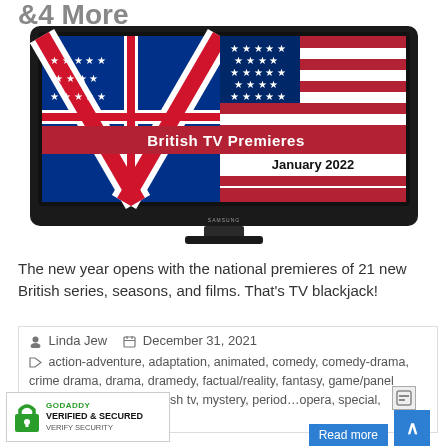&4 More
[Figure (illustration): A Samsung flat-screen TV displaying an image combining the US flag (left) and UK flag (right), with text 'British TV Premieres' in white bold and 'January 2022' in black bold on a red background strip.]
The new year opens with the national premieres of 21 new British series, seasons, and films. That's TV blackjack!
Linda Jew   December 31, 2021
action-adventure, adaptation, animated, comedy, comedy-drama, crime drama, drama, dramedy, factual/reality, fantasy, game/panel show, historical drama, Irish tv, mystery, period … opera, special, supernatural
[Figure (logo): GoDaddy Verified & Secured badge with green lock icon]
[Figure (screenshot): Small overlay icon bottom right]